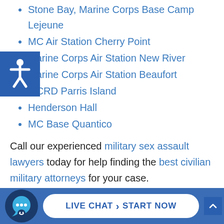Stone Bay, Marine Corps Base Camp Lejeune
MC Air Station Cherry Point
Marine Corps Air Station New River
Marine Corps Air Station Beaufort
MCRD Parris Island
Henderson Hall
MC Base Quantico
Call our experienced military sex assault lawyers today for help finding the best civilian military attorneys for your case.
region taking cue after the September 11, 2001 attacks. The Combined Joint Task Force-Horn of Africa was established in 2002 as the US government decided to fight extremism through training and cooperation with the local government